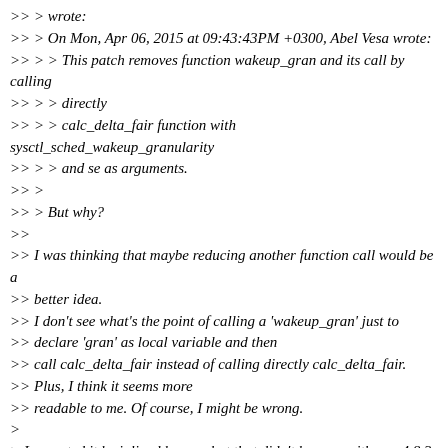>> > wrote:
>> > On Mon, Apr 06, 2015 at 09:43:43PM +0300, Abel Vesa wrote:
>> > > This patch removes function wakeup_gran and its call by calling
>> > > directly
>> > > calc_delta_fair function with sysctl_sched_wakeup_granularity
>> > > and se as arguments.
>> >
>> > But why?
>>
>> I was thinking that maybe reducing another function call would be a
>> better idea.
>> I don't see what's the point of calling a 'wakeup_gran' just to
>> declare 'gran' as local variable and then
>> call calc_delta_fair instead of calling directly calc_delta_fair.
>> Plus, I think it seems more
>> readable to me. Of course, I might be wrong.
>
> I expected it be inlined by gcc, but that didn't happen with gcc-4.8.3.
>
> -Mike